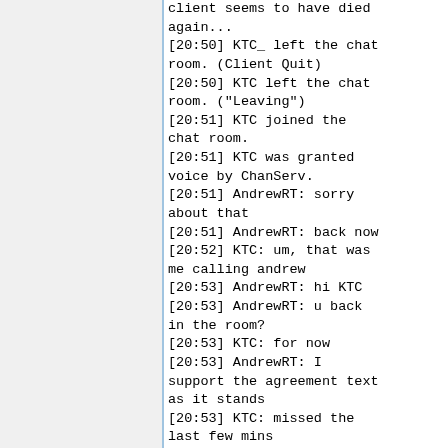[...] ...client seems to have died again...
[20:50] KTC_ left the chat room. (Client Quit)
[20:50] KTC left the chat room. ("Leaving")
[20:51] KTC joined the chat room.
[20:51] KTC was granted voice by ChanServ.
[20:51] AndrewRT: sorry about that
[20:51] AndrewRT: back now
[20:52] KTC: um, that was me calling andrew
[20:53] AndrewRT: hi KTC
[20:53] AndrewRT: u back in the room?
[20:53] KTC: for now
[20:53] AndrewRT: I support the agreement text as it stands
[20:53] KTC: missed the last few mins
[20:53] AndrewRT: others?